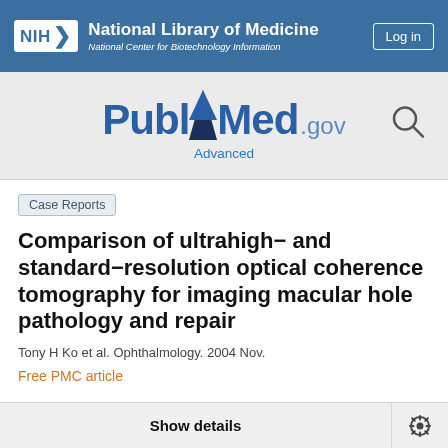National Library of Medicine — National Center for Biotechnology Information
[Figure (logo): PubMed.gov logo with search icon and Advanced link]
Case Reports
Comparison of ultrahigh- and standard-resolution optical coherence tomography for imaging macular hole pathology and repair
Tony H Ko et al. Ophthalmology. 2004 Nov.
Free PMC article
Show details